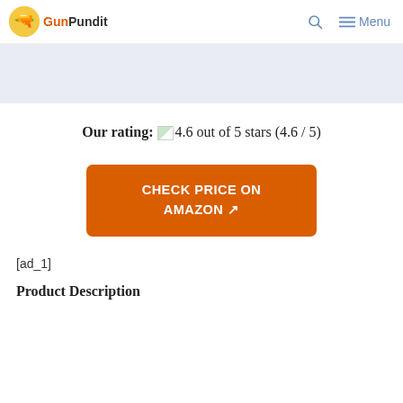GunPundit — Menu
[Figure (other): Light blue/gray advertisement banner placeholder]
Our rating: 4.6 out of 5 stars (4.6 / 5)
CHECK PRICE ON AMAZON ↗
[ad_1]
Product Description